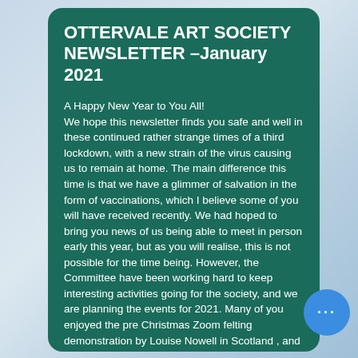OTTERVALE ART SOCIETY NEWSLETTER –January 2021
A Happy New Year to You All! We hope this newsletter finds you safe and well in these continued rather strange times of a third lockdown, with a new strain of the virus causing us to remain at home. The main difference this time is that we have a glimmer of salvation in the form of vaccinations, which I believe some of you will have received recently. We had hoped to bring you news of us being able to meet in person early this year, but as you will realise, this is not possible for the time being. However, the Committee have been working hard to keep interesting activities going for the society, and we are planning the events for 2021. Many of you enjoyed the pre Christmas Zoom felting demonstration by Louise Nowell in Scotland , and were surprised by how much felting is like painting with wool! Louise runs workshops on her craft and I had great fun on one a few years ago , so if you are interested please look at